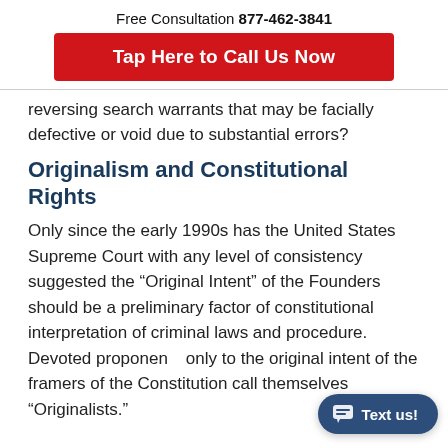Free Consultation 877-462-3841
[Figure (other): Red call-to-action button: Tap Here to Call Us Now]
reversing search warrants that may be facially defective or void due to substantial errors?
Originalism and Constitutional Rights
Only since the early 1990s has the United States Supreme Court with any level of consistency suggested the “Original Intent” of the Founders should be a preliminary factor of constitutional interpretation of criminal laws and procedure. Devoted proponents only to the original intent of the framers of the Constitution call themselves “Originalists.”